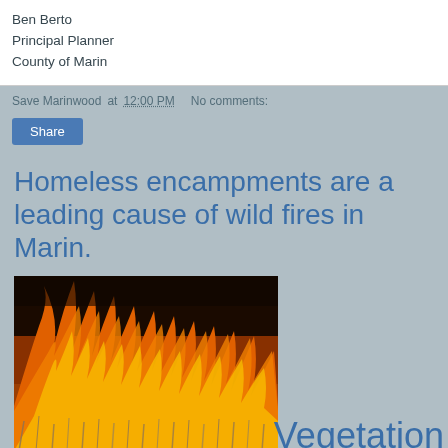Ben Berto
Principal Planner
County of Marin
Save Marinwood at 12:00 PM   No comments:
Share
Homeless encampments are a leading cause of wild fires in Marin.
[Figure (photo): Photograph of dry grass vegetation burning with large orange and yellow flames.]
Vegetation fires, starting in dry grass...